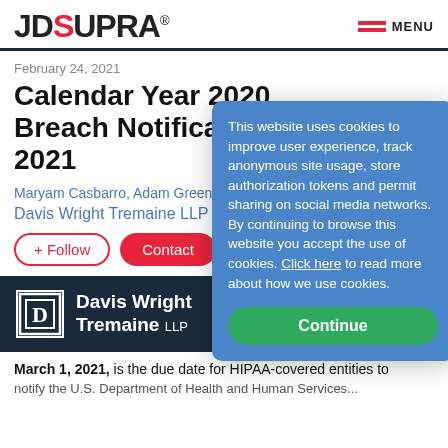JD SUPRA
February 24, 2021
Calendar Year 2020 Breach Notification 2021
Maryam Casbarro, Adam Greene,
Davis Wright Tremaine LLP
This website uses cookies to improve user experience, track anonymous site usage, store authorization tokens and permit sharing on social media networks. By continuing to browse this website you accept the use of cookies. Click here to read more about how we use cookies.
Continue
[Figure (logo): Davis Wright Tremaine LLP logo on dark navy banner]
March 1, 2021, is the due date for HIPAA-covered entities to notify the U.S. Department of Health and Human Services...